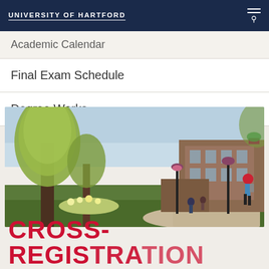UNIVERSITY OF HARTFORD
Academic Calendar
Final Exam Schedule
Degree Works
[Figure (photo): Campus outdoor photo showing tree-lined path with students walking, brick buildings, and hanging flower baskets in spring]
CROSS-REGISTRATION